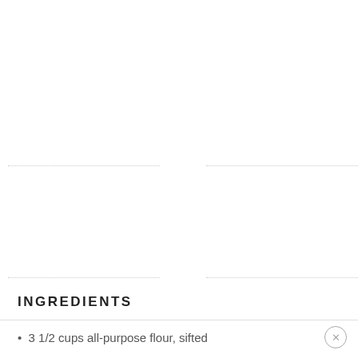[Figure (other): Navigation UI with left double chevron (<<) and right double chevron (>>) arrows, flanked by dotted horizontal lines above and below]
INGREDIENTS
3 1/2 cups all-purpose flour, sifted